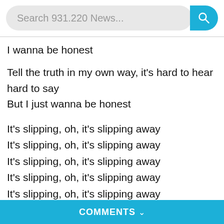Search 931.220 News...
I wanna be honest
Tell the truth in my own way, it's hard to hear hard to say
But I just wanna be honest
It's slipping, oh, it's slipping away
It's slipping, oh, it's slipping away
It's slipping, oh, it's slipping away
It's slipping, oh, it's slipping away
It's slipping, oh, it's slipping away
COMMENTS ∨